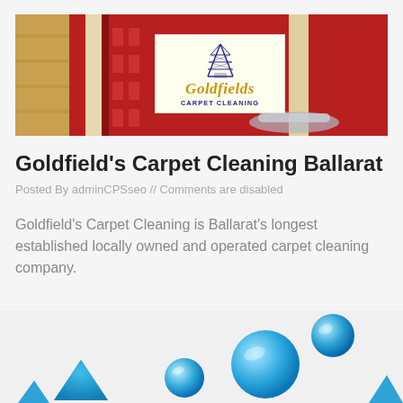[Figure (photo): Hero banner image showing a red and beige striped carpet/rug on wooden floor with a metal vacuum cleaner attachment visible. Overlaid with Goldfields Carpet Cleaning logo in a cream/ivory box showing an oil derrick/tower illustration with italic gold script text 'Goldfields' and blue uppercase text 'CARPET CLEANING'.]
Goldfield's Carpet Cleaning Ballarat
Posted By adminCPSseo // Comments are disabled
Goldfield's Carpet Cleaning is Ballarat's longest established locally owned and operated carpet cleaning company.
[Figure (illustration): Partial bottom illustration showing blue geometric shapes (diamond/pyramid) and blue water bubble/droplet shapes of various sizes on a light background, suggesting a carpet cleaning theme.]